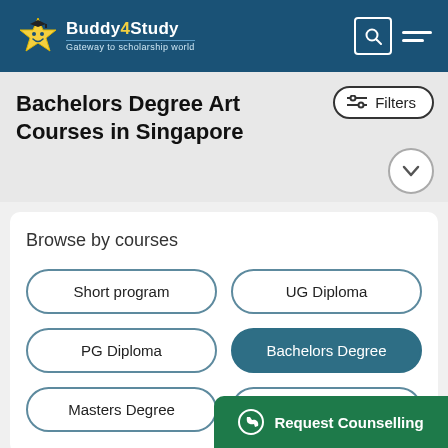Buddy4Study — Gateway to scholarship world
Bachelors Degree Art Courses in Singapore
Filters
Browse by courses
Short program
UG Diploma
PG Diploma
Bachelors Degree
Masters Degree
PhD
Request Counselling